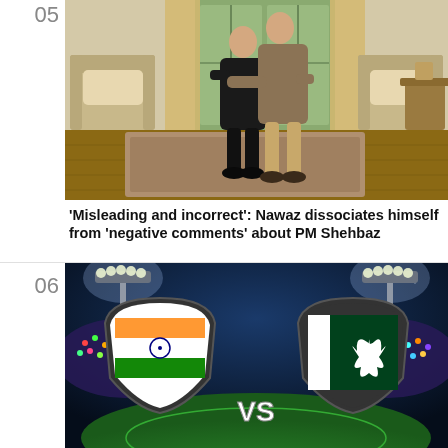[Figure (photo): Two men hugging indoors in a living room with armchairs and a garden door in the background]
'Misleading and incorrect': Nawaz dissociates himself from 'negative comments' about PM Shehbaz
[Figure (photo): Cricket stadium graphic with India vs Pakistan shields and flags, floodlights, crowd backdrop]